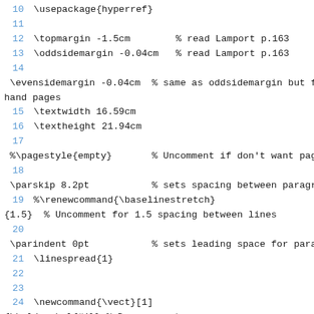10  \usepackage{hyperref}
11
12  \topmargin -1.5cm        % read Lamport p.163
13  \oddsidemargin -0.04cm   % read Lamport p.163
14
\evensidemargin -0.04cm  % same as oddsidemargin but fo
hand pages
15  \textwidth 16.59cm
16  \textheight 21.94cm
17
%\pagestyle{empty}       % Uncomment if don't want page
18
\parskip 8.2pt           % sets spacing between paragra
19  %\renewcommand{\baselinestretch}
{1.5}  % Uncomment for 1.5 spacing between lines
20
\parindent 0pt           % sets leading space for parag
21  \linespread{1}
22
23
24  \newcommand{\vect}[1]
{\boldsymbol{#1}} % Draw a vector
25  \newcommand{\divg}[1]
{\nabla \cdot #1} % divergence
26  \newcommand{\curl}[1]{\nabla \times #1} % curl